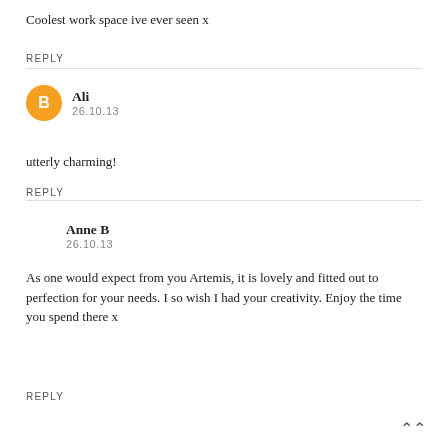Coolest work space ive ever seen x
REPLY
Ali
26.10.13
utterly charming!
REPLY
Anne B
26.10.13
As one would expect from you Artemis, it is lovely and fitted out to perfection for your needs. I so wish I had your creativity. Enjoy the time you spend there x
REPLY